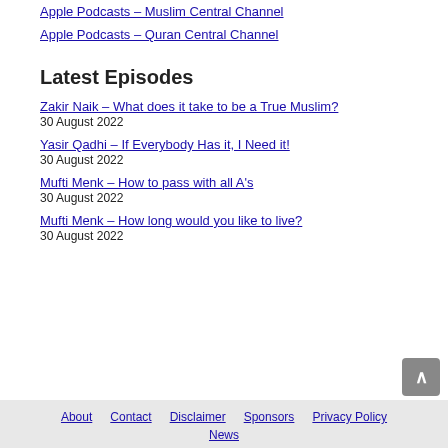Apple Podcasts – Muslim Central Channel
Apple Podcasts – Quran Central Channel
Latest Episodes
Zakir Naik – What does it take to be a True Muslim?
30 August 2022
Yasir Qadhi – If Everybody Has it, I Need it!
30 August 2022
Mufti Menk – How to pass with all A's
30 August 2022
Mufti Menk – How long would you like to live?
30 August 2022
About  Contact  Disclaimer  Sponsors  Privacy Policy  News